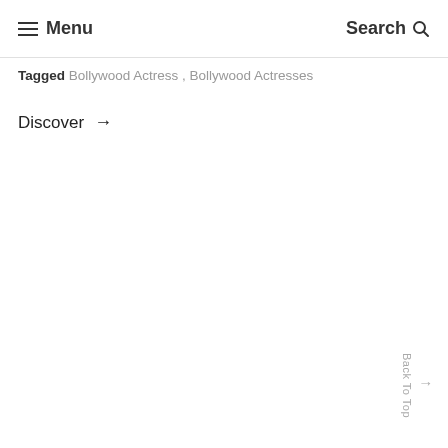≡ Menu   Search 🔍
Tagged Bollywood Actress , Bollywood Actresses
Discover →
Back To Top ↑